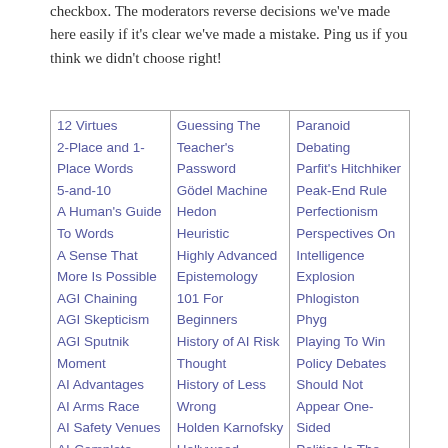checkbox. The moderators reverse decisions we've made here easily if it's clear we've made a mistake. Ping us if you think we didn't choose right!
| Column 1 | Column 2 | Column 3 |
| --- | --- | --- |
| 12 Virtues
2-Place and 1-Place Words
5-and-10
A Human's Guide To Words
A Sense That More Is Possible
AGI Chaining
AGI Skepticism
AGI Sputnik Moment
AI Advantages
AI Arms Race
AI Safety Venues
AI-Complete
Abolitionism
Absent-Minded Driver
Absolute... | Guessing The Teacher's Password
Gödel Machine
Hedon
Heuristic
Highly Advanced Epistemology 101 For Beginners
History of AI Risk Thought
History of Less Wrong
Holden Karnofsky
Hollywood Rationality
How An Algorithm Feels
How To Actually Change Your Mind... | Paranoid Debating
Parfit's Hitchhiker
Peak-End Rule
Perfectionism
Perspectives On Intelligence Explosion
Phlogiston
Phyg
Playing To Win
Policy Debates Should Not Appear One-Sided
Politics Is The Mind-Killer
Positivism, Self Deception, and Neuroscience (Sequence)
Possibility... |